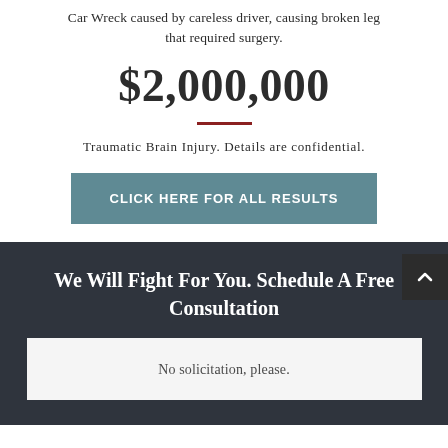Car Wreck caused by careless driver, causing broken leg that required surgery.
$2,000,000
Traumatic Brain Injury. Details are confidential.
CLICK HERE FOR ALL RESULTS
We Will Fight For You. Schedule A Free Consultation
No solicitation, please.